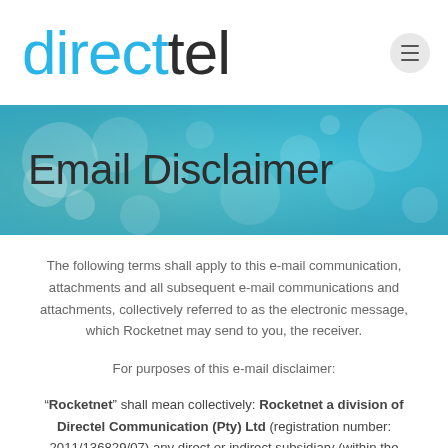directel
Email Disclaimer
The following terms shall apply to this e-mail communication, attachments and all subsequent e-mail communications and attachments, collectively referred to as the electronic message, which Rocketnet may send to you, the receiver.
For purposes of this e-mail disclaimer:
“Rocketnet” shall mean collectively: Rocketnet a division of Directel Communication (Pty) Ltd (registration number: 2011/136829/07) any direct or indirect subsidiary (within the